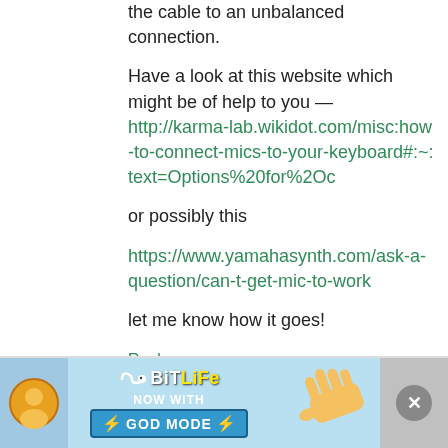the cable to an unbalanced connection.
Have a look at this website which might be of help to you — http://karma-lab.wikidot.com/misc:how-to-connect-mics-to-your-keyboard#:~:text=Options%20for%2Oc
or possibly this
https://www.yamahasynth.com/ask-a-question/can-t-get-mic-to-work
let me know how it goes!
Reply
[Figure (screenshot): BitLife advertisement banner with 'NOW WITH GOD MODE' text, lightning bolt, hand pointer graphic, and close button]